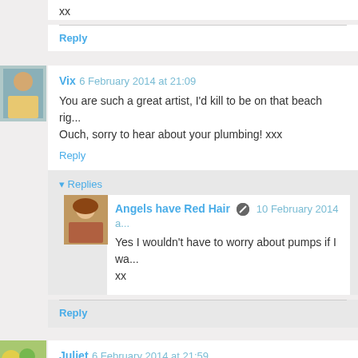xx
Reply
Vix 6 February 2014 at 21:09
You are such a great artist, I'd kill to be on that beach rig... Ouch, sorry to hear about your plumbing! xxx
Reply
Replies
Angels have Red Hair 10 February 2014 a...
Yes I wouldn't have to worry about pumps if I wa... xx
Reply
Juliet 6 February 2014 at 21:59